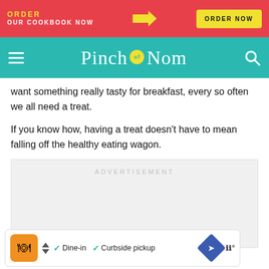ORDER OUR COOKBOOK NOW | ORDER NOW
[Figure (logo): Pinch of Nom website logo on teal navigation bar with hamburger menu and search icon]
want something really tasty for breakfast, every so often we all need a treat.
If you know how, having a treat doesn't have to mean falling off the healthy eating wagon.
[Figure (other): Advertisement placeholder box with ADVERTISEMENT label]
[Figure (other): Bottom advertisement bar showing restaurant listing with Dine-in and Curbside pickup options]